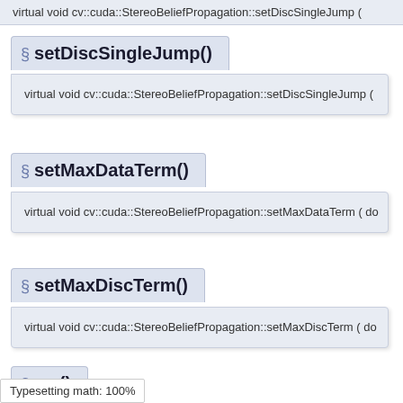§ setDiscSingleJump()
virtual void cv::cuda::StereoBeliefPropagation::setDiscSingleJump (
§ setMaxDataTerm()
virtual void cv::cuda::StereoBeliefPropagation::setMaxDataTerm ( do
§ setMaxDiscTerm()
virtual void cv::cuda::StereoBeliefPropagation::setMaxDiscTerm ( do
§ ...e()
Typesetting math: 100%